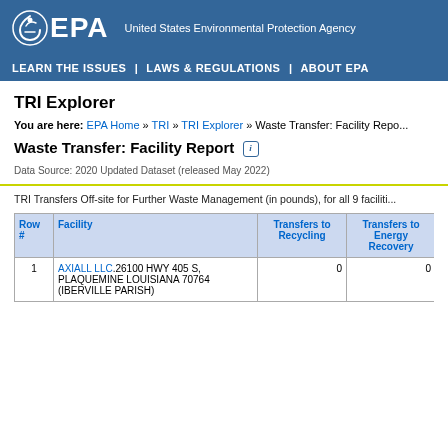EPA United States Environmental Protection Agency
LEARN THE ISSUES | LAWS & REGULATIONS | ABOUT EPA
TRI Explorer
You are here: EPA Home » TRI » TRI Explorer » Waste Transfer: Facility Report
Waste Transfer: Facility Report
Data Source: 2020 Updated Dataset (released May 2022)
TRI Transfers Off-site for Further Waste Management (in pounds), for all 9 facilities
| Row # | Facility | Transfers to Recycling | Transfers to Energy Recovery | Tra |
| --- | --- | --- | --- | --- |
| 1 | AXIALL LLC.26100 HWY 405 S, PLAQUEMINE LOUISIANA 70764 (IBERVILLE PARISH) | 0 | 0 |  |